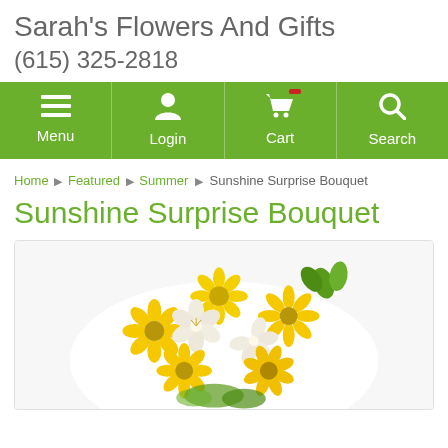Sarah's Flowers And Gifts
(615) 325-2818
[Figure (screenshot): Navigation bar with green background showing Menu, Login, Cart, and Search icons with labels]
Home ▶ Featured ▶ Summer ▶ Sunshine Surprise Bouquet
Sunshine Surprise Bouquet
[Figure (photo): Photo of Sunshine Surprise Bouquet featuring yellow daisies and white alstroemeria flowers with green buds]